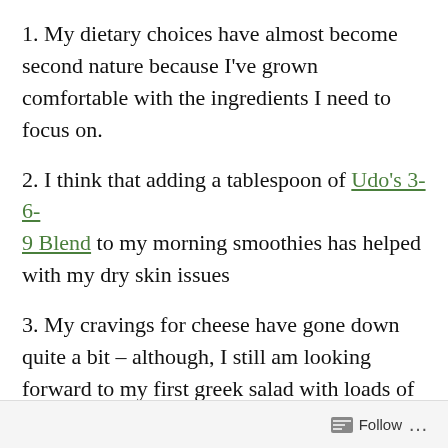1. My dietary choices have almost become second nature because I've grown comfortable with the ingredients I need to focus on.
2. I think that adding a tablespoon of Udo's 3-6-9 Blend to my morning smoothies has helped with my dry skin issues
3. My cravings for cheese have gone down quite a bit – although, I still am looking forward to my first greek salad with loads of feta.
4. I've noticed that my olive consumption has gone down – probably because I'm not eating
Follow ...